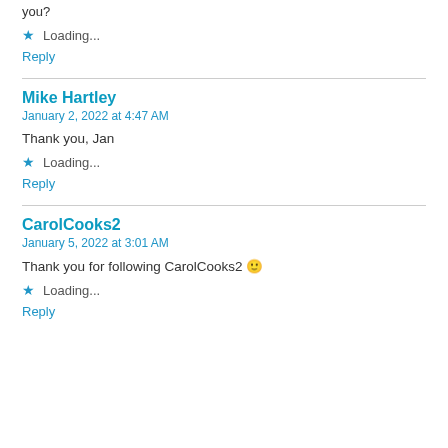you?
★ Loading...
Reply
Mike Hartley
January 2, 2022 at 4:47 AM
Thank you, Jan
★ Loading...
Reply
CarolCooks2
January 5, 2022 at 3:01 AM
Thank you for following CarolCooks2 🙂
★ Loading...
Reply